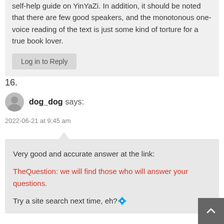self-help guide on YinYaZi. In addition, it should be noted that there are few good speakers, and the monotonous one-voice reading of the text is just some kind of torture for a true book lover.
Log in to Reply
16.
dog_dog says:
2022-06-21 at 9:45 am
Very good and accurate answer at the link:
TheQuestion: we will find those who will answer your questions.
Try a site search next time, eh?🔷